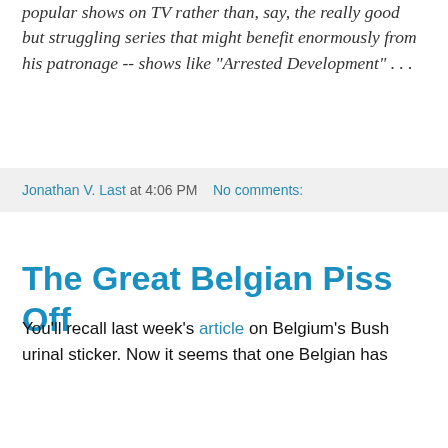popular shows on TV rather than, say, the really good but struggling series that might benefit enormously from his patronage -- shows like "Arrested Development" . . .
Jonathan V. Last at 4:06 PM   No comments:
The Great Belgian Piss Off
You'll recall last week's article on Belgium's Bush urinal sticker. Now it seems that one Belgian has
filed suit against the makers of the offending sticker. He will almost certainly lose his case, but the motive is sweet. The gentleman served under a U.S. commander during his time in the military and notes of his family:
My father was a policeman during World War II, and for his activities in the resistance he received several medals. His brother survived a concentration camp, but suffered severe physical